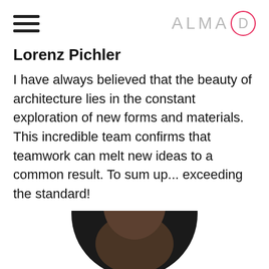ALMA D (logo with hamburger menu)
Lorenz Pichler
I have always believed that the beauty of architecture lies in the constant exploration of new forms and materials. This incredible team confirms that teamwork can melt new ideas to a common result. To sum up... exceeding the standard!
[Figure (photo): Circular portrait photo of a person with dark hair against a dark background, cropped at the bottom of the page]